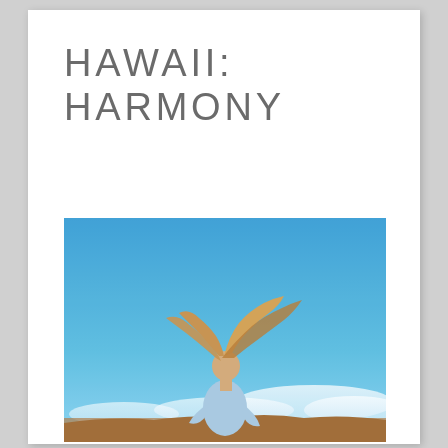HAWAII: HARMONY
[Figure (photo): A woman with long windswept hair stands against a vivid blue sky with clouds below, photographed from a high elevation point in Hawaii. She wears a light blue top and her hair blows dramatically in the wind.]